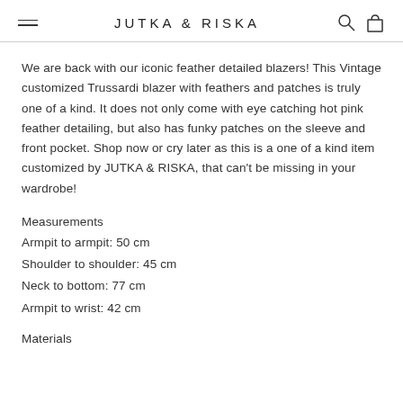JUTKA & RISKA
We are back with our iconic feather detailed blazers! This Vintage customized Trussardi blazer with feathers and patches is truly one of a kind. It does not only come with eye catching hot pink feather detailing, but also has funky patches on the sleeve and front pocket. Shop now or cry later as this is a one of a kind item customized by JUTKA & RISKA, that can't be missing in your wardrobe!
Measurements
Armpit to armpit: 50 cm
Shoulder to shoulder: 45 cm
Neck to bottom: 77 cm
Armpit to wrist: 42 cm
Materials